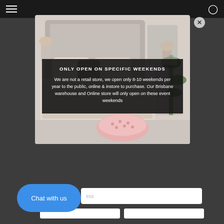[Figure (screenshot): Website screenshot showing a dark modal popup with a bedroom/furniture retail store image overlaid with a semi-transparent dark info box. The modal contains text about store hours. Below the modal is a chat button and email input form elements.]
ONLY OPEN ON SPECIFIC WEEKENDS
We are not a retail store, we open only 8-10 weekends per year to the public, online & instore to purchase. Our Brisbane warehouse and Online store will only open on these event weekends
Chat with us